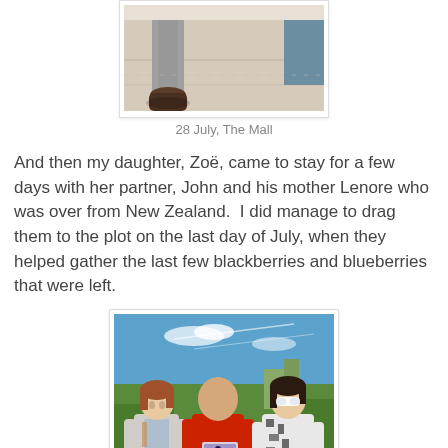[Figure (photo): A photo showing legs/feet on a sandy or marble floor surface, with part of a person visible on the right edge. Dated 28 July, The Mall.]
28 July, The Mall
And then my daughter, Zoë, came to stay for a few days with her partner, John and his mother Lenore who was over from New Zealand.  I did manage to drag them to the plot on the last day of July, when they helped gather the last few blackberries and blueberries that were left.
[Figure (photo): Three people standing outdoors at an allotment/garden plot on a sunny day with blue sky. Left: a woman with short reddish-brown hair in a light cardigan and patterned scarf. Center: a tall bald man in a red t-shirt holding a clear plastic container with berries. Right: a woman in white sunglasses and a black and white patterned dress.]